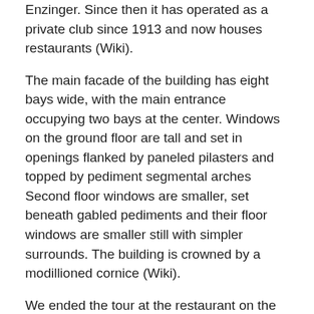Enzinger. Since then it has operated as a private club since 1913 and now houses restaurants (Wiki).
The main facade of the building has eight bays wide, with the main entrance occupying two bays at the center. Windows on the ground floor are tall and set in openings flanked by paneled pilasters and topped by pediment segmental arches Second floor windows are smaller, set beneath gabled pediments and their floor windows are smaller still with simpler surrounds. The building is crowned by a modillioned cornice (Wiki).
We ended the tour at the restaurant on the bottom level where some of the group stayed for dinner. I headed off to the Wonton Noodle Garden at 56 Mott Street for dinner. After a long tour outdoors and the night getting cooler, a steaming bowl of Cantonese Wonton Soup ($8.95) with a side of pan-fried dumplings ($5.00).